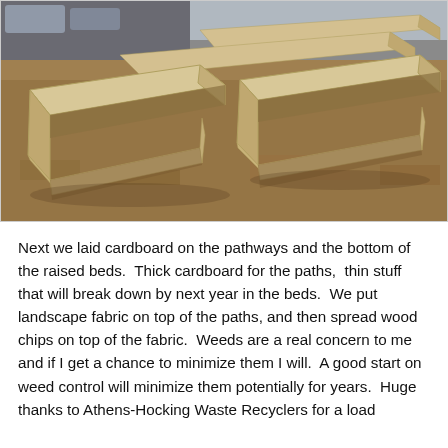[Figure (photo): Outdoor photograph of multiple wooden raised garden beds arranged in parallel rows on a dry grass field, with a paved parking area visible in the background. The raised beds are made of light-colored lumber and are empty, filled with dry soil/mulch.]
Next we laid cardboard on the pathways and the bottom of the raised beds.  Thick cardboard for the paths,  thin stuff that will break down by next year in the beds.  We put landscape fabric on top of the paths, and then spread wood chips on top of the fabric.  Weeds are a real concern to me and if I get a chance to minimize them I will.  A good start on weed control will minimize them potentially for years.  Huge thanks to Athens-Hocking Waste Recyclers for a load